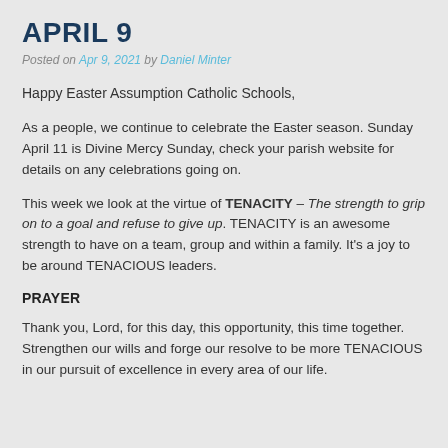APRIL 9
Posted on Apr 9, 2021 by Daniel Minter
Happy Easter Assumption Catholic Schools,
As a people, we continue to celebrate the Easter season. Sunday April 11 is Divine Mercy Sunday, check your parish website for details on any celebrations going on.
This week we look at the virtue of TENACITY – The strength to grip on to a goal and refuse to give up. TENACITY is an awesome strength to have on a team, group and within a family. It's a joy to be around TENACIOUS leaders.
PRAYER
Thank you, Lord, for this day, this opportunity, this time together. Strengthen our wills and forge our resolve to be more TENACIOUS in our pursuit of excellence in every area of our life.